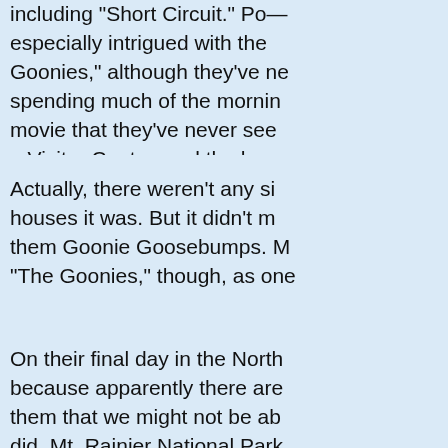including "Short Circuit." Po— especially intrigued with the Goonies," although they've ne spending much of the mornin movie that they've never see a Visitor Center, and the hous
Actually, there weren't any si houses it was.  But it didn't m them Goonie Goosebumps.  M "The Goonies," though, as one
On their final day in the North because apparently there are them that we might not be ab did.  Mt. Rainier National Park the visibility outside was abo of the mountain and assured